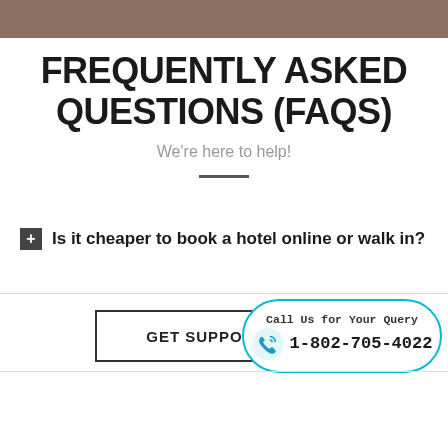[Figure (photo): Hero image strip at top of page showing a blurred hotel/building scene]
FREQUENTLY ASKED QUESTIONS (FAQS)
We're here to help!
+ Is it cheaper to book a hotel online or walk in?
GET SUPPORT
Call Us for Your Query 1-802-705-4022